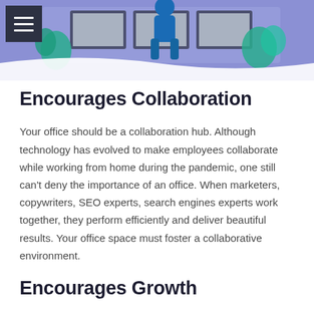[Figure (illustration): Header illustration showing a person working at a desk with plants, on a purple/periwinkle background, with a hamburger menu icon in the top-left corner.]
Encourages Collaboration
Your office should be a collaboration hub. Although technology has evolved to make employees collaborate while working from home during the pandemic, one still can't deny the importance of an office. When marketers, copywriters, SEO experts, search engines experts work together, they perform efficiently and deliver beautiful results. Your office space must foster a collaborative environment.
Encourages Growth